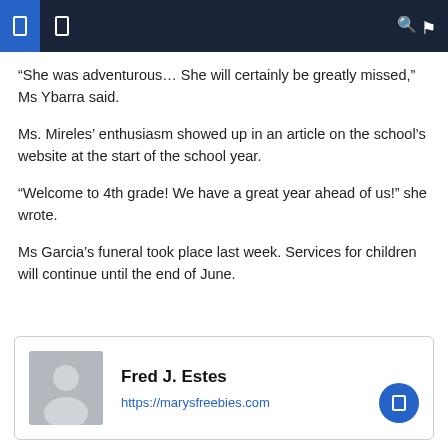Navigation bar with menu icons and search
“She was adventurous… She will certainly be greatly missed,” Ms Ybarra said.
Ms. Mireles’ enthusiasm showed up in an article on the school’s website at the start of the school year.
“Welcome to 4th grade! We have a great year ahead of us!” she wrote.
Ms Garcia’s funeral took place last week. Services for children will continue until the end of June.
Fred J. Estes
https://marysfreebies.com